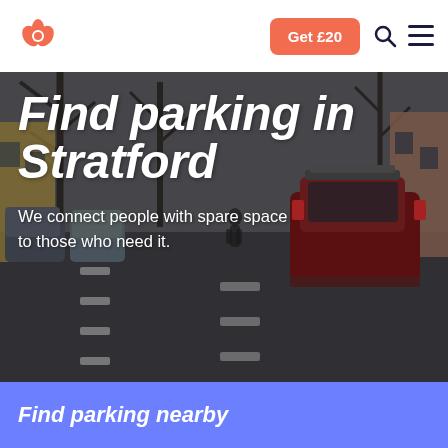[Figure (logo): JustPark bee/leaf logo in coral/orange]
Get £20
[Figure (photo): Street scene with cars parked on a residential road with trees, viewed from behind a red SUV]
Find parking in Stratford
We connect people with spare space to those who need it.
Find parking nearby